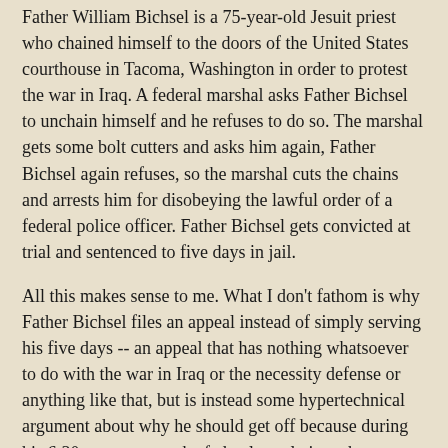Father William Bichsel is a 75-year-old Jesuit priest who chained himself to the doors of the United States courthouse in Tacoma, Washington in order to protest the war in Iraq. A federal marshal asks Father Bichsel to unchain himself and he refuses to do so. The marshal gets some bolt cutters and asks him again, Father Bichsel again refuses, so the marshal cuts the chains and arrests him for disobeying the lawful order of a federal police officer. Father Bichsel gets convicted at trial and sentenced to five days in jail.
All this makes sense to me. What I don't fathom is why Father Bichsel files an appeal instead of simply serving his five days -- an appeal that has nothing whatsoever to do with the war in Iraq or the necessity defense or anything like that, but is instead some hypertechnical argument about why he should get off because during his 6:30 a.m. protest, the federal regulations that governed the courthouse were only posted inside (rather than also outside) the courthouse doors. This is why we conduct civil disobedience? To make a statement about the precise definition of "conspicuous posting" pursuant to 41 C.F.R. sect. 102-74.365?
You break the law and you serve your time with pride. Okay...